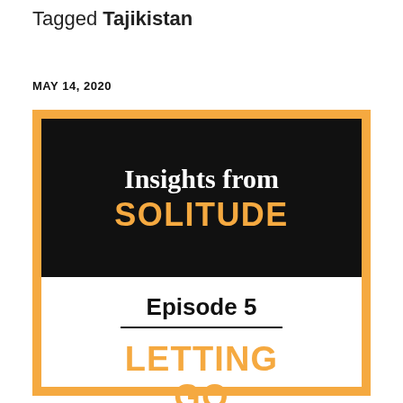Tagged Tajikistan
MAY 14, 2020
[Figure (illustration): Promotional card image with orange border. Top half has black background with white serif text 'Insights from' and orange bold text 'SOLITUDE'. Bottom half has white background with bold text 'Episode 5', a horizontal rule, and orange bold text 'LETTING GO'.]